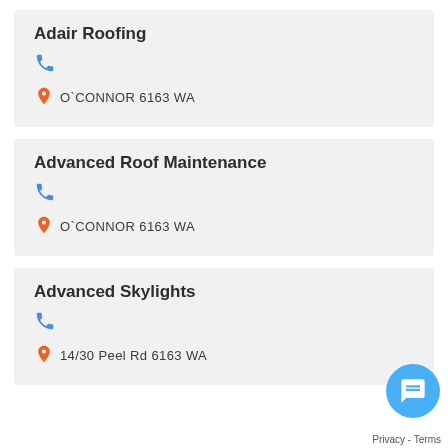Adair Roofing
O`CONNOR 6163 WA
Advanced Roof Maintenance
O`CONNOR 6163 WA
Advanced Skylights
14/30 Peel Rd 6163 WA
Privacy - Terms